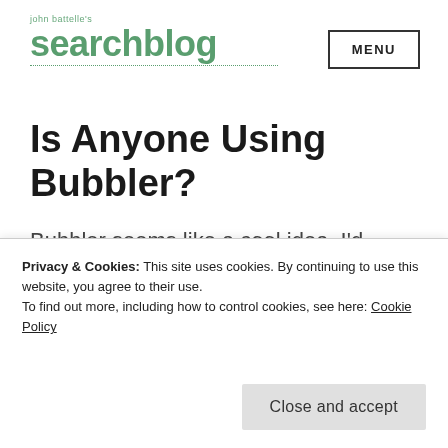john battelle's searchblog
Is Anyone Using Bubbler?
Bubbler seems like a cool idea, I'd heard of it before, and now SVW has a write up. It's something of a mashup between
Privacy & Cookies: This site uses cookies. By continuing to use this website, you agree to their use. To find out more, including how to control cookies, see here: Cookie Policy
Close and accept